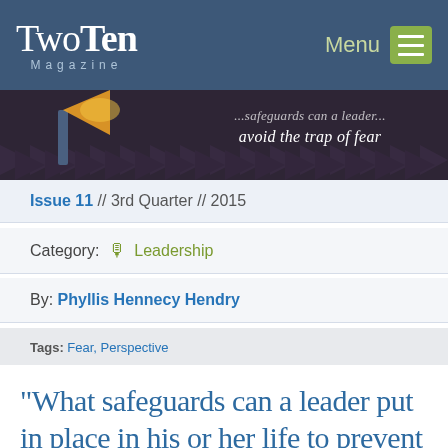TwoTen Magazine — Menu
[Figure (illustration): Hero banner image showing a flashlight with orange light beam against dark purple background with diamond pattern, text reading 'avoid the trap of fear']
Issue 11 // 3rd Quarter // 2015
Category: 🎙 Leadership
By: Phyllis Hennecy Hendry
Tags: Fear, Perspective
“What safeguards can a leader put in place in his or her life to prevent falling into the trap of